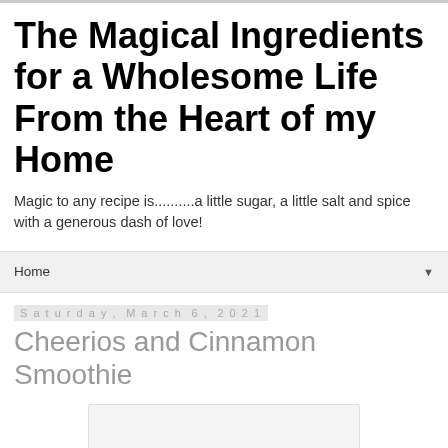The Magical Ingredients for a Wholesome Life From the Heart of my Home
Magic to any recipe is..........a little sugar, a little salt and spice with a generous dash of love!
Home
Saturday, March 6, 2021
Cheerios and Cinnamon Smoothie
[Figure (photo): Placeholder image area for blog post photo]